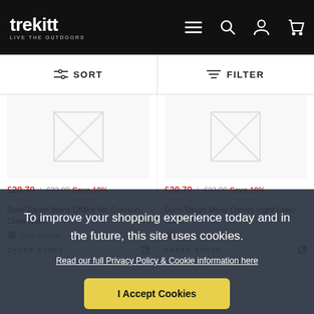trekitt LIVE THE OUTDOORS
SORT
FILTER
[Figure (other): Product image placeholder with crossed-out image icon - left product]
£20.70 | £23.00 Save 10%
Darn Tough Mens Offline No Cushion Crew Navy
Other Colours
CHECK STOCK
[Figure (other): Product image placeholder with crossed-out image icon - right product]
£20.70 | £23.00 Save 10%
Darn Tough Mens Oxford Light Crew Black
Other Colours
CHECK STOCK
To improve your shopping experience today and in the future, this site uses cookies.
Read our full Privacy Policy & Cookie information here
I Accept Cookies